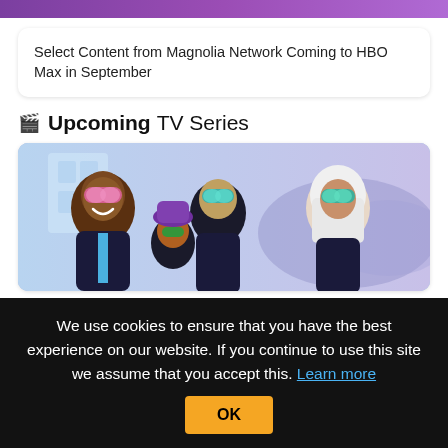[Figure (other): Purple gradient top bar decoration]
Select Content from Magnolia Network Coming to HBO Max in September
🎬 Upcoming TV Series
[Figure (illustration): Animated cartoon characters wearing futuristic goggles and suits, diverse group of young heroes in a sci-fi setting]
We use cookies to ensure that you have the best experience on our website. If you continue to use this site we assume that you accept this. Learn more OK